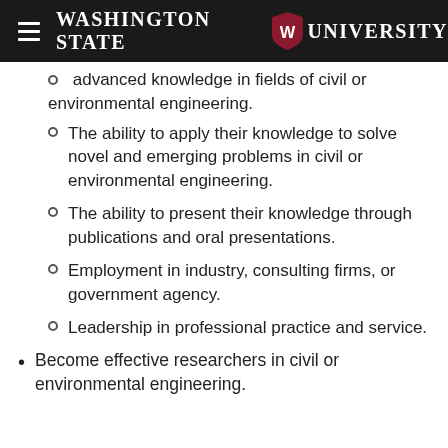Washington State University
advanced knowledge in fields of civil or environmental engineering.
The ability to apply their knowledge to solve novel and emerging problems in civil or environmental engineering.
The ability to present their knowledge through publications and oral presentations.
Employment in industry, consulting firms, or government agency.
Leadership in professional practice and service.
Become effective researchers in civil or environmental engineering.